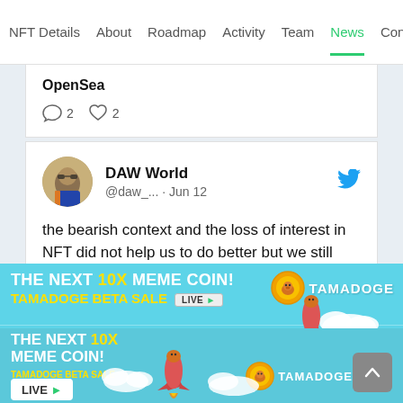NFT Details  About  Roadmap  Activity  Team  News  Con
OpenSea
💬 2   ♡ 2
DAW World @daw_... · Jun 12
the bearish context and the loss of interest in NFT did not help us to do better but we still have hope
#NFTs
[Figure (infographic): Tamadoge advertisement banner: 'THE NEXT 10X MEME COIN! TAMADOGE BETA SALE LIVE>' with rocket and dog character illustrations on cyan/light blue background, repeated twice. Tamadoge logo with coin icon visible.]